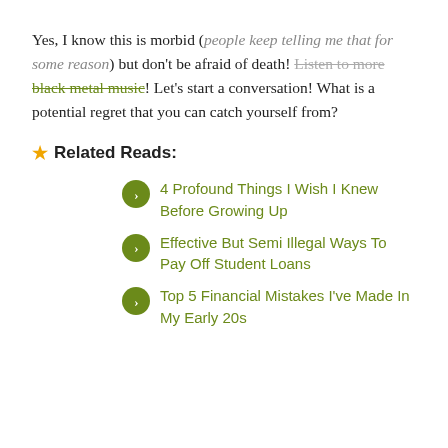Yes, I know this is morbid (people keep telling me that for some reason) but don't be afraid of death! Listen to more black metal music! Let's start a conversation! What is a potential regret that you can catch yourself from?
★ Related Reads:
4 Profound Things I Wish I Knew Before Growing Up
Effective But Semi Illegal Ways To Pay Off Student Loans
Top 5 Financial Mistakes I've Made In My Early 20s